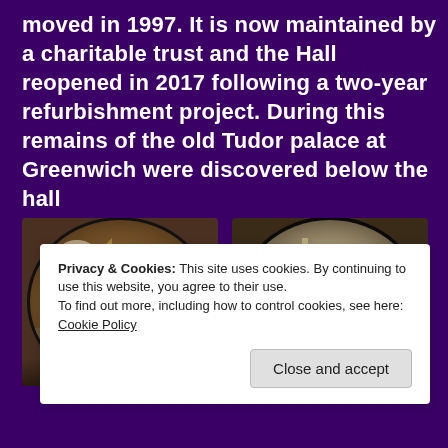moved in 1997. It is now maintained by a charitable trust and the Hall reopened in 2017 following a two-year refurbishment project. During this remains of the old Tudor palace at Greenwich were discovered below the hall
[Figure (photo): Archaeological excavation photo showing Tudor walls discovered below a building, taken through a round opening, with stone and brick structures visible. Caption: Tudor walls]
[Figure (photo): Archaeological excavation photo showing Tudor Walls discovered below a building, viewed through a circular opening, showing stone masonry. Caption: Tudor Walls]
Privacy & Cookies: This site uses cookies. By continuing to use this website, you agree to their use.
To find out more, including how to control cookies, see here: Cookie Policy